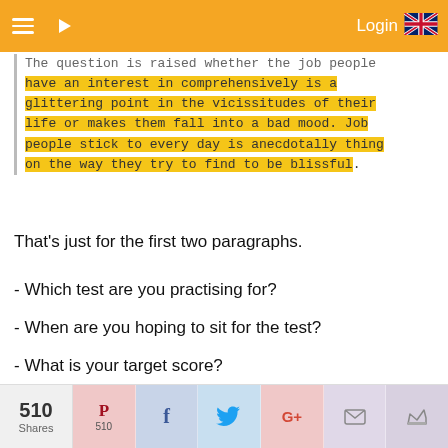Login
The question is raised whether the job people have an interest in comprehensively is a glittering point in the vicissitudes of their life or makes them fall into a bad mood. Job people stick to every day is anecdotally thing on the way they try to find to be blissful.
That's just for the first two paragraphs.
- Which test are you practising for?
- When are you hoping to sit for the test?
- What is your target score?
11th June
510 Shares